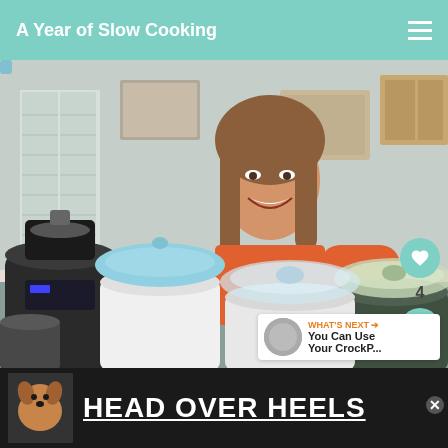A Year of Slow Cooking
[Figure (photo): Woman in orange shirt smiling and leaning over a table full of various slow cookers and crockpots in a kitchen setting]
4
WHAT'S NEXT → You Can Use Your CrockP...
New York Times bestselling
[Figure (advertisement): Ad banner with a dog photo and text HEAD OVER HEELS in large white bold letters on dark background]